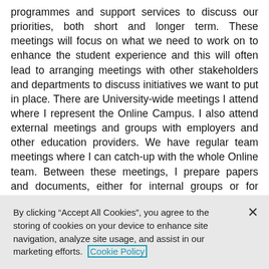programmes and support services to discuss our priorities, both short and longer term. These meetings will focus on what we need to work on to enhance the student experience and this will often lead to arranging meetings with other stakeholders and departments to discuss initiatives we want to put in place. There are University-wide meetings I attend where I represent the Online Campus. I also attend external meetings and groups with employers and other education providers. We have regular team meetings where I can catch-up with the whole Online team. Between these meetings, I prepare papers and documents, either for internal groups or for external bodies. On really good days I have meetings with
By clicking “Accept All Cookies”, you agree to the storing of cookies on your device to enhance site navigation, analyze site usage, and assist in our marketing efforts. Cookie Policy